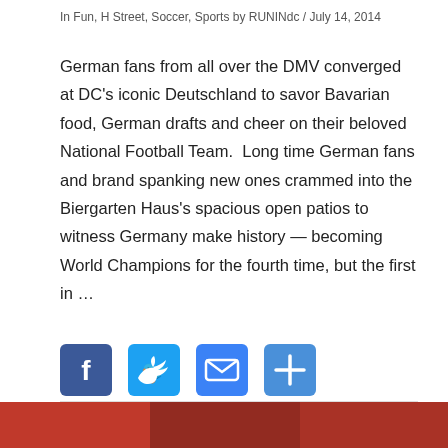In Fun, H Street, Soccer, Sports by RUNINdc / July 14, 2014
German fans from all over the DMV converged at DC’s iconic Deutschland to savor Bavarian food, German drafts and cheer on their beloved National Football Team.  Long time German fans and brand spanking new ones crammed into the Biergarten Haus’s spacious open patios to witness Germany make history — becoming World Champions for the fourth time, but the first in …
[Figure (other): Social share buttons: Facebook (blue), Twitter (blue), Email (blue envelope), More/Plus (blue plus)]
[Figure (photo): Partial photo strip at bottom of page showing crowd or event scene]